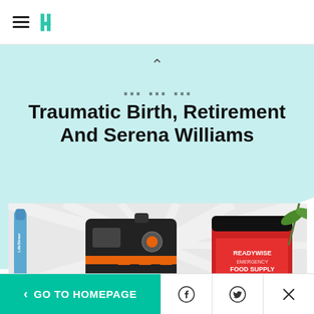HuffPost navigation and logo
Traumatic Birth, Retirement And Serena Williams
[Figure (photo): Product photo showing emergency supplies: a LifeStraw water filter, a Jackery portable power station, and a ReadyWise Emergency Food Supply bucket, with a dramatic sunburst background]
< GO TO HOMEPAGE | Facebook share | Twitter share | Close